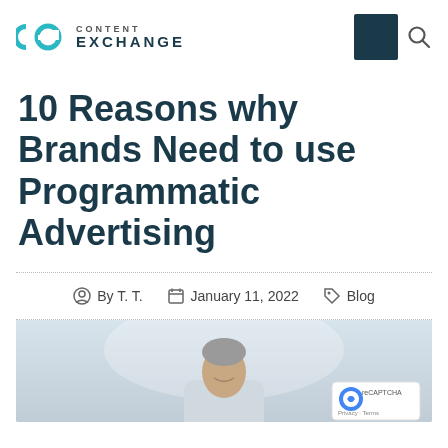Content Exchange
10 Reasons why Brands Need to use Programmatic Advertising
By T. T.  January 11, 2022  Blog
[Figure (photo): A smiling middle-aged man with gray hair, dressed in a light-colored shirt, photographed in a bright indoor setting. reCAPTCHA Privacy - Terms badge visible in bottom right corner.]